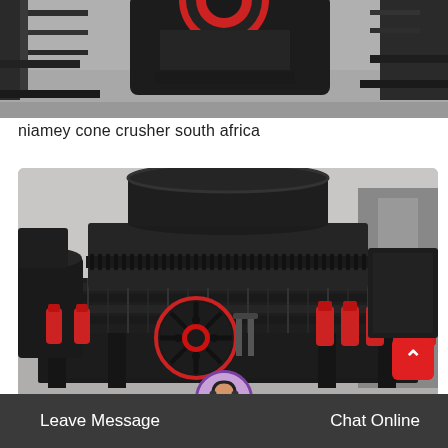[Figure (photo): Top portion of a cone crusher machine in an industrial factory/warehouse setting, showing metal frame structure and circular crusher head with red accent element visible at top.]
niamey cone crusher south africa
[Figure (photo): Large industrial cone crusher machine photographed in a factory/warehouse. The machine is dark grey/black with prominent red hydraulic cylinders around the base and a large black flywheel with red center hub visible in the front. The machine has a cylindrical body with spring assembly and sits on a black steel frame.]
Leave Message
Chat Online